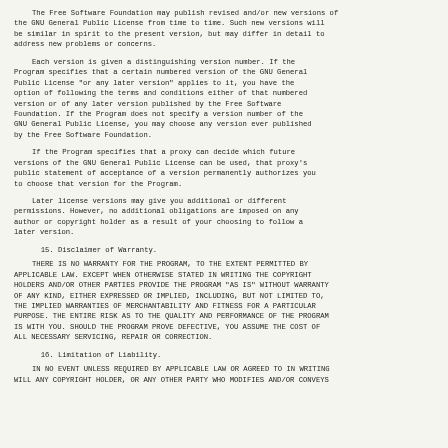The Free Software Foundation may publish revised and/or new versions of the GNU General Public License from time to time.  Such new versions will be similar in spirit to the present version, but may differ in detail to address new problems or concerns.
Each version is given a distinguishing version number.  If the Program specifies that a certain numbered version of the GNU General Public License "or any later version" applies to it, you have the option of following the terms and conditions either of that numbered version or of any later version published by the Free Software Foundation.  If the Program does not specify a version number of the GNU General Public License, you may choose any version ever published by the Free Software Foundation.
If the Program specifies that a proxy can decide which future versions of the GNU General Public License can be used, that proxy's public statement of acceptance of a version permanently authorizes you to choose that version for the Program.
Later license versions may give you additional or different permissions.  However, no additional obligations are imposed on any author or copyright holder as a result of your choosing to follow a later version.
15. Disclaimer of Warranty.
THERE IS NO WARRANTY FOR THE PROGRAM, TO THE EXTENT PERMITTED BY APPLICABLE LAW.  EXCEPT WHEN OTHERWISE STATED IN WRITING THE COPYRIGHT HOLDERS AND/OR OTHER PARTIES PROVIDE THE PROGRAM "AS IS" WITHOUT WARRANTY OF ANY KIND, EITHER EXPRESSED OR IMPLIED, INCLUDING, BUT NOT LIMITED TO, THE IMPLIED WARRANTIES OF MERCHANTABILITY AND FITNESS FOR A PARTICULAR PURPOSE.  THE ENTIRE RISK AS TO THE QUALITY AND PERFORMANCE OF THE PROGRAM IS WITH YOU.  SHOULD THE PROGRAM PROVE DEFECTIVE, YOU ASSUME THE COST OF ALL NECESSARY SERVICING, REPAIR OR CORRECTION.
16. Limitation of Liability.
IN NO EVENT UNLESS REQUIRED BY APPLICABLE LAW OR AGREED TO IN WRITING WILL ANY COPYRIGHT HOLDER, OR ANY OTHER PARTY WHO MODIFIES AND/OR CONVEYS